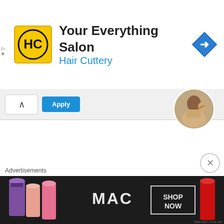[Figure (screenshot): Hair Cuttery advertisement banner: yellow logo with HC initials, title 'Your Everything Salon', subtitle 'Hair Cuttery' in blue, navigation icon on right]
[Figure (screenshot): Partial web page content showing Apply button, chevron up icon, and circular profile photo of person at desk]
REPORT THIS AD
Like this? Share it!
[Figure (screenshot): Social sharing buttons: Facebook (blue circle), Twitter (blue circle), Pinterest (red circle with 11 badge), Reddit (gray circle), More button]
Like this:
[Figure (screenshot): WordPress Like button with star icon and blogger avatar thumbnail]
One blogger likes this.
Advertisements
[Figure (screenshot): MAC Cosmetics advertisement banner showing lipsticks with 'SHOP NOW' call to action]